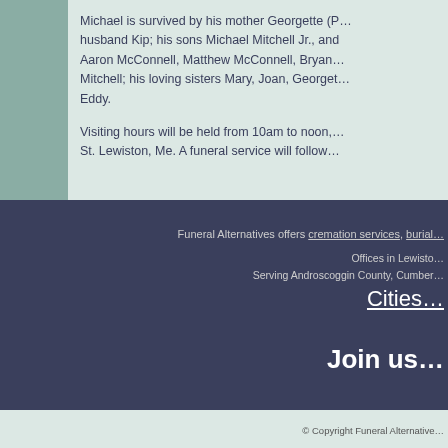Michael is survived by his mother Georgette (P... husband Kip; his sons Michael Mitchell Jr., and Aaron McConnell, Matthew McConnell, Bryan... Mitchell; his loving sisters Mary, Joan, Georget... Eddy.
Visiting hours will be held from 10am to noon, ... St. Lewiston, Me. A funeral service will follow ...
Funeral Alternatives offers cremation services, burial ...
Offices in Lewisto... Serving Androscoggin County, Cumber...
Cities ...
Join us ...
© Copyright Funeral Alternative...